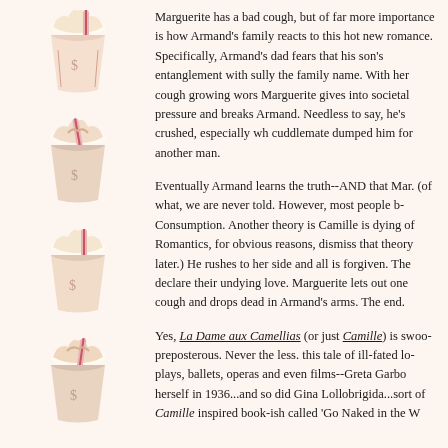[Figure (illustration): Decorative strip of illustrated milkshake/hot chocolate cups with whipped cream and striped straws, repeated vertically on the left side of the page]
Marguerite has a bad cough, but of far more importance is how Armand's family reacts to this hot new romance. Specifically, Armand's dad fears that his son's entanglement with this courtesan will sully the family name. With her cough growing worse, a tearful Marguerite gives into societal pressure and breaks off her affair with Armand. Needless to say, he's crushed, especially when he thinks his cuddlemate dumped him for another man.
Eventually Armand learns the truth--AND that Marguerite is dying (of what, we are never told. However, most people believe it to be Consumption. Another theory is Camille is dying of boredom. The Romantics, for obvious reasons, dismiss that theory. But more on that later.) He rushes to her side and all is forgiven. The couple rapturously declare their undying love. Marguerite lets out one last beautiful cough and drops dead in Armand's arms. The end.
Yes, La Dame aux Camellias (or just Camille) is swoony and preposterous. Never the less, this tale of ill-fated love has inspired plays, ballets, operas and even films--Greta Garbo played Camille herself in 1936...and so did Gina Lollobrigida...sort of. Camille inspired book-ish called 'Go Naked in the W...